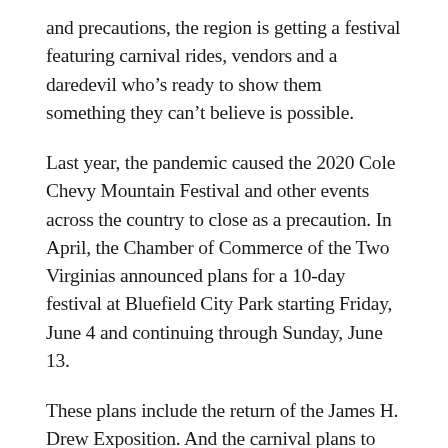and precautions, the region is getting a festival featuring carnival rides, vendors and a daredevil who's ready to show them something they can't believe is possible.
Last year, the pandemic caused the 2020 Cole Chevy Mountain Festival and other events across the country to close as a precaution. In April, the Chamber of Commerce of the Two Virginias announced plans for a 10-day festival at Bluefield City Park starting Friday, June 4 and continuing through Sunday, June 13.
These plans include the return of the James H. Drew Exposition. And the carnival plans to have special performer for all 10 days of the festival, record-setting human cannonball David “The Bullet” Smith.